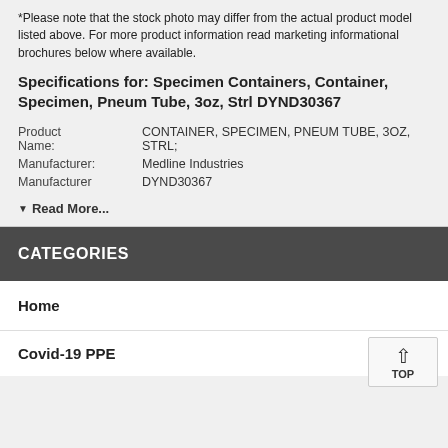*Please note that the stock photo may differ from the actual product model listed above. For more product information read marketing informational brochures below where available.
Specifications for: Specimen Containers, Container, Specimen, Pneum Tube, 3oz, Strl DYND30367
| Product Name: | CONTAINER, SPECIMEN, PNEUM TUBE, 3OZ, STRL; |
| Manufacturer: | Medline Industries |
| Manufacturer | DYND30367 |
▼ Read More...
CATEGORIES
Home
Covid-19 PPE